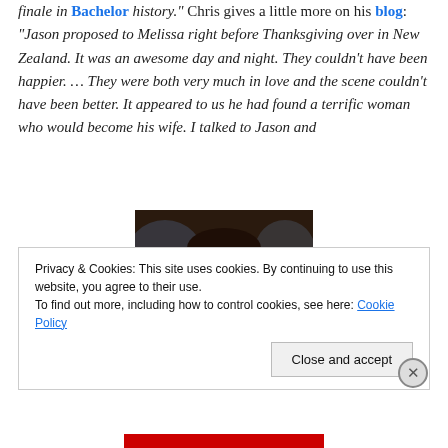finale in Bachelor history." Chris gives a little more on his blog: "Jason proposed to Melissa right before Thanksgiving over in New Zealand. It was an awesome day and night. They couldn't have been happier. … They were both very much in love and the scene couldn't have been better. It appeared to us he had found a terrific woman who would become his wife. I talked to Jason and
[Figure (photo): Close-up photo of a dark-haired woman with an expressive face, appearing to be from a TV show scene]
Privacy & Cookies: This site uses cookies. By continuing to use this website, you agree to their use.
To find out more, including how to control cookies, see here: Cookie Policy
Close and accept